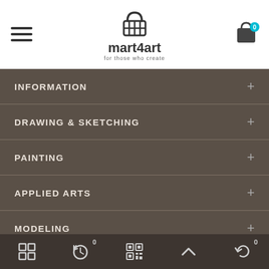[Figure (logo): mart4art logo with basket icon and tagline 'for those who create']
INFORMATION
DRAWING & SKETCHING
PAINTING
APPLIED ARTS
MODELING
[Figure (screenshot): Bottom navigation toolbar with grid, clock, QR code, chevron up, and history icons with badge counts 0]